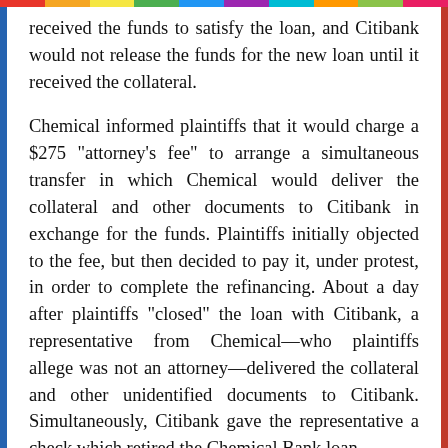received the funds to satisfy the loan, and Citibank would not release the funds for the new loan until it received the collateral.
Chemical informed plaintiffs that it would charge a $275 "attorney's fee" to arrange a simultaneous transfer in which Chemical would deliver the collateral and other documents to Citibank in exchange for the funds. Plaintiffs initially objected to the fee, but then decided to pay it, under protest, in order to complete the refinancing. About a day after plaintiffs "closed" the loan with Citibank, a representative from Chemical—who plaintiffs allege was not an attorney—delivered the collateral and other unidentified documents to Citibank. Simultaneously, Citibank gave the representative a check which retired the Chemical Bank loan.
Plaintiffs then brought the instant lawsuit, on behalf of themselves and all persons similarly